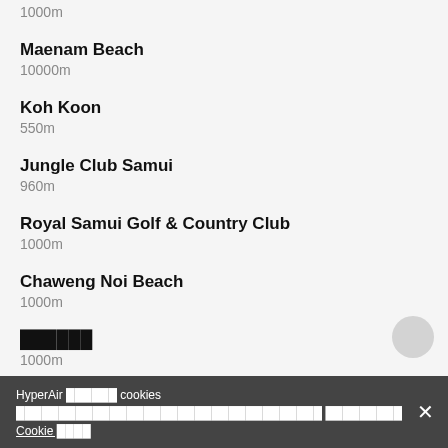1000m
Maenam Beach
10000m
Koh Koon
550m
Jungle Club Samui
960m
Royal Samui Golf & Country Club
1000m
Chaweng Noi Beach
1000m
██████
1000m
HyperAir ██████ cookies ████████████████████████████████████ █████████ Cookie ████